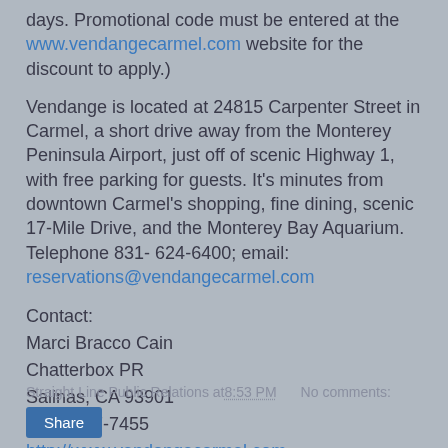days. Promotional code must be entered at the www.vendangecarmel.com website for the discount to apply.)
Vendange is located at 24815 Carpenter Street in Carmel, a short drive away from the Monterey Peninsula Airport, just off of scenic Highway 1, with free parking for guests. It's minutes from downtown Carmel's shopping, fine dining, scenic 17-Mile Drive, and the Monterey Bay Aquarium. Telephone 831- 624-6400; email: reservations@vendangecarmel.com
Contact:
Marci Bracco Cain
Chatterbox PR
Salinas, CA 93901
(831) 747-7455
http://www.vendangecarmel.com
Straight Line Public Relations at 8:53 PM   No comments: